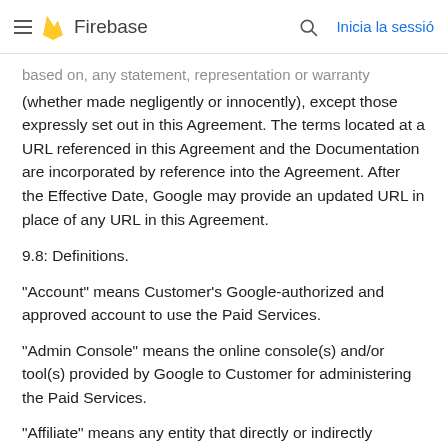Firebase  Inicia la sessió
based on, any statement, representation or warranty (whether made negligently or innocently), except those expressly set out in this Agreement. The terms located at a URL referenced in this Agreement and the Documentation are incorporated by reference into the Agreement. After the Effective Date, Google may provide an updated URL in place of any URL in this Agreement.
9.8: Definitions.
"Account" means Customer's Google-authorized and approved account to use the Paid Services.
"Admin Console" means the online console(s) and/or tool(s) provided by Google to Customer for administering the Paid Services.
"Affiliate" means any entity that directly or indirectly Controls, is Controlled by, or is under common Control with